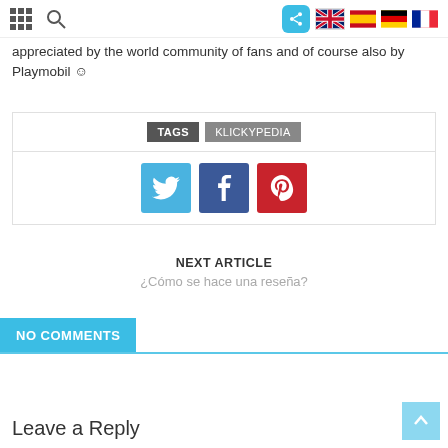[navigation icons and flags]
appreciated by the world community of fans and of course also by Playmobil ☺
TAGS  KLICKYPEDIA
[Figure (other): Social share buttons: Twitter (blue), Facebook (dark blue), Pinterest (red)]
NEXT ARTICLE
¿Cómo se hace una reseña?
NO COMMENTS
Leave a Reply